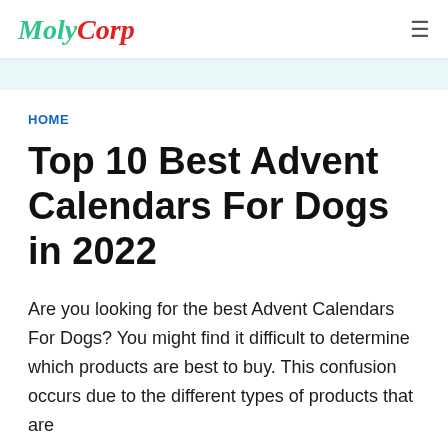MOLY CORP
HOME
Top 10 Best Advent Calendars For Dogs in 2022
Are you looking for the best Advent Calendars For Dogs? You might find it difficult to determine which products are best to buy. This confusion occurs due to the different types of products that are